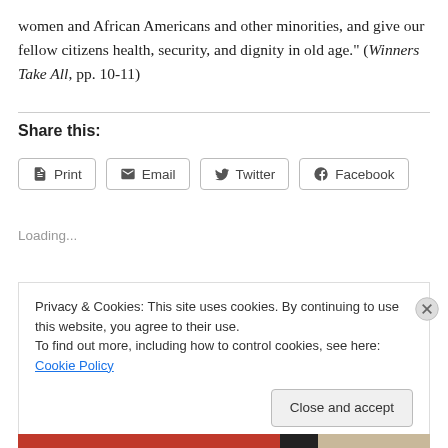women and African Americans and other minorities, and give our fellow citizens health, security, and dignity in old age." (Winners Take All, pp. 10-11)
Share this:
[Figure (other): Share buttons: Print, Email, Twitter, Facebook]
Loading...
Privacy & Cookies: This site uses cookies. By continuing to use this website, you agree to their use. To find out more, including how to control cookies, see here: Cookie Policy
Close and accept